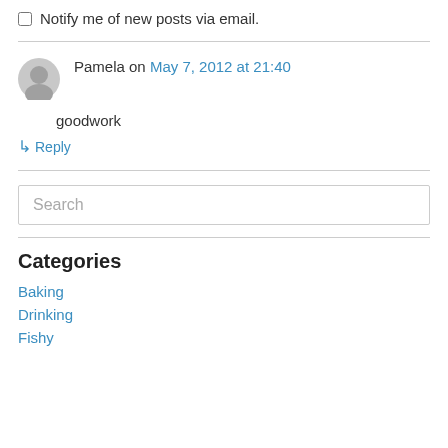Notify me of new posts via email.
Pamela on May 7, 2012 at 21:40
goodwork
↳ Reply
Search
Categories
Baking
Drinking
Fishy